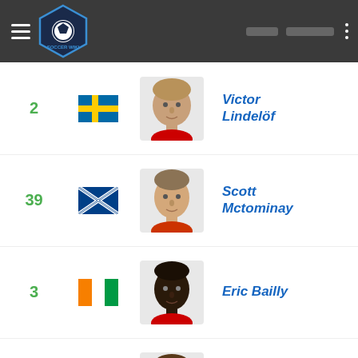Soccer Wiki
2 - Victor Lindelöf - Sweden
39 - Scott Mctominay - Scotland
3 - Eric Bailly - Ivory Coast
4 - Phil Jones - England
Axel Tuanzebe
Di'shon Bernard
Cookie consent dialog with OK button